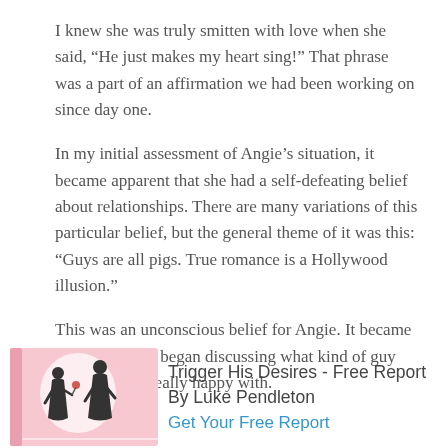I knew she was truly smitten with love when she said, “He just makes my heart sing!” That phrase was a part of an affirmation we had been working on since day one.
In my initial assessment of Angie’s situation, it became apparent that she had a self-defeating belief about relationships. There are many variations of this particular belief, but the general theme of it was this: “Guys are all pigs. True romance is a Hollywood illusion.”
This was an unconscious belief for Angie. It became apparent as we began discussing what kind of guy she would be really happy with.
[Figure (illustration): Book cover with pink background showing silhouettes of a couple, man presenting flowers to a woman]
Trigger His Desires - Free Report By Luke Pendleton
Get Your Free Report